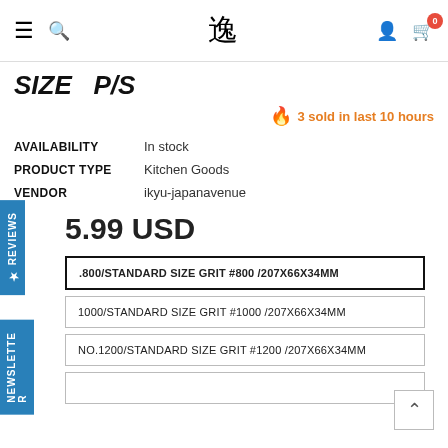Navigation bar with hamburger menu, search icon, Japanese kanji logo, user icon, and cart (0)
SIZE  P/S
🔥 3 sold in last 10 hours
| Field | Value |
| --- | --- |
| AVAILABILITY | In stock |
| PRODUCT TYPE | Kitchen Goods |
| VENDOR | ikyu-japanavenue |
5.99 USD
.800/STANDARD SIZE GRIT #800 /207X66X34MM
1000/STANDARD SIZE GRIT #1000 /207X66X34MM
NO.1200/STANDARD SIZE GRIT #1200 /207X66X34MM